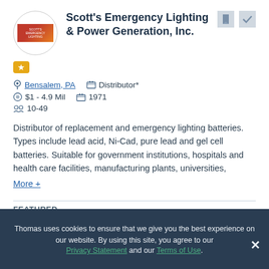Scott's Emergency Lighting & Power Generation, Inc.
[Figure (logo): Company logo in a circle]
Bensalem, PA  Distributor*  $1 - 4.9 Mil  1971  10-49
Distributor of replacement and emergency lighting batteries. Types include lead acid, Ni-Cad, pure lead and gel cell batteries. Suitable for government institutions, hospitals and health care facilities, manufacturing plants, universities,
More +
FEATURED
[Figure (screenshot): Catalog thumbnail image]
Thomas uses cookies to ensure that we give you the best experience on our website. By using this site, you agree to our Privacy Statement and our Terms of Use.